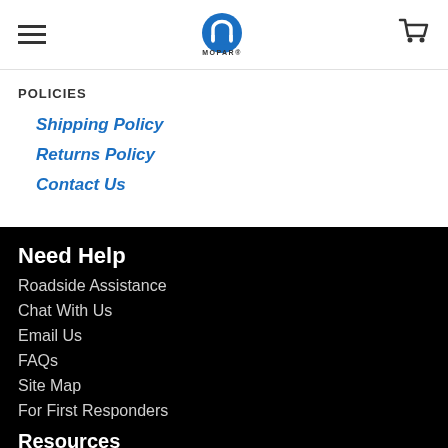[Figure (logo): Mopar logo with hamburger menu icon on left and shopping cart icon on right in the header]
POLICIES
Shipping Policy
Returns Policy
Contact Us
Need Help
Roadside Assistance
Chat With Us
Email Us
FAQs
Site Map
For First Responders
Resources
Find a Dealer